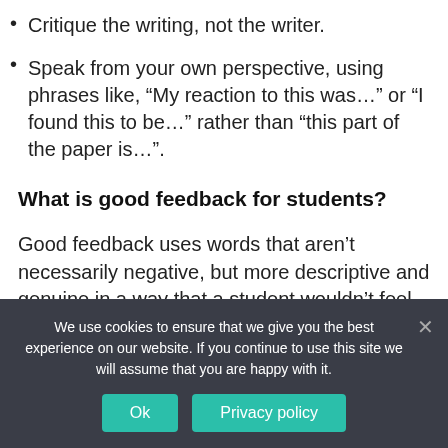Critique the writing, not the writer.
Speak from your own perspective, using phrases like, “My reaction to this was…” or “I found this to be…” rather than “this part of the paper is…”.
What is good feedback for students?
Good feedback uses words that aren’t necessarily negative, but more descriptive and genuine in a way that a student wouldn’t feel the need to be sad or defensive. Feedback should be very specific to the...
We use cookies to ensure that we give you the best experience on our website. If you continue to use this site we will assume that you are happy with it.